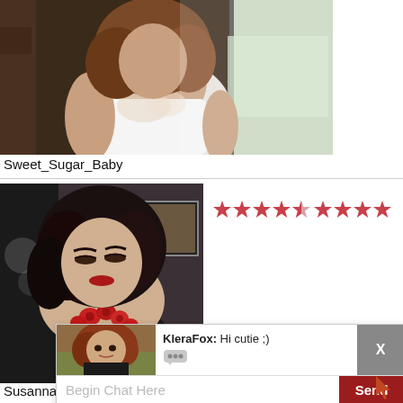[Figure (photo): Profile photo of user Sweet_Sugar_Baby: a woman in a white tank top, photographed from above near a window.]
Sweet_Sugar_Baby
[Figure (photo): Profile photo of user SusannaMeaty: a woman with curly dark hair wearing a red rose necklace and black outfit.]
[Figure (infographic): Star rating display showing approximately 7.5 out of 10 stars (4 full stars + 1 half star in first group, 4 full stars in second group).]
SusannaMeaty
[Figure (photo): Chat popup thumbnail showing a young woman with curly red-brown hair.]
KleraFox: Hi cutie ;)